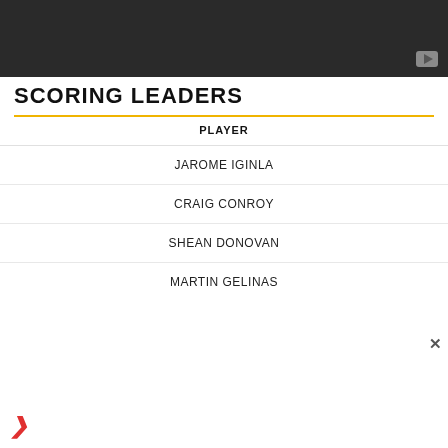[Figure (screenshot): Dark video banner/thumbnail with a play button icon in the bottom-right corner]
SCORING LEADERS
| PLAYER |
| --- |
| JAROME IGINLA |
| CRAIG CONROY |
| SHEAN DONOVAN |
| MARTIN GELINAS |